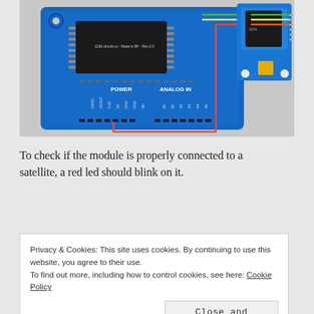[Figure (engineering-diagram): Arduino board connected to a GPS/satellite module with colored wires (red, green, yellow). The Arduino shows POWER and ANALOG IN headers. The module is on the upper right. A red wire loops from the bottom of the Arduino back up to the module.]
To check if the module is properly connected to a satellite, a red led should blink on it.
Privacy & Cookies: This site uses cookies. By continuing to use this website, you agree to their use. To find out more, including how to control cookies, see here: Cookie Policy